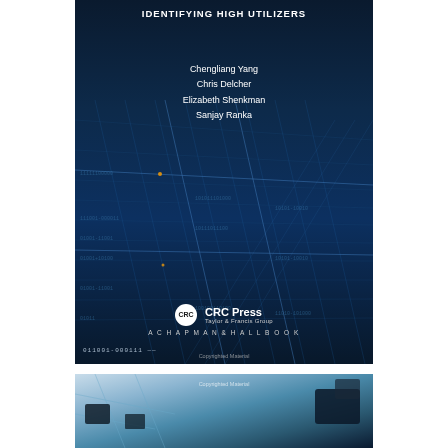[Figure (photo): Book cover with dark blue digital circuit/blueprint background. Title text reads 'IDENTIFYING HIGH UTILIZERS'. Authors listed: Chengliang Yang, Chris Delcher, Elizabeth Shenkman, Sanjay Ranka. CRC Press / Taylor & Francis Group / A Chapman & Hall Book logo at bottom. Binary code '011001-000111' at bottom left. 'Copyrighted Material' watermark visible.]
[Figure (photo): Partial view of a second book cover showing blue-toned circuit board or electronic components background. 'Copyrighted Material' text visible.]